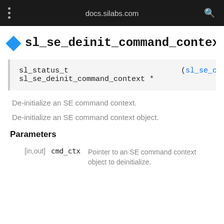docs.silabs.com
sl_se_deinit_command_context()
sl_status_t (sl_se_comm
sl_se_deinit_command_context *
De-initialize an SE command context.
De-initialize an SE command context object.
Parameters
|  | Name | Description |
| --- | --- | --- |
| [in,out] | cmd_ctx | Pointer to an SE command context object to deinitialize. |